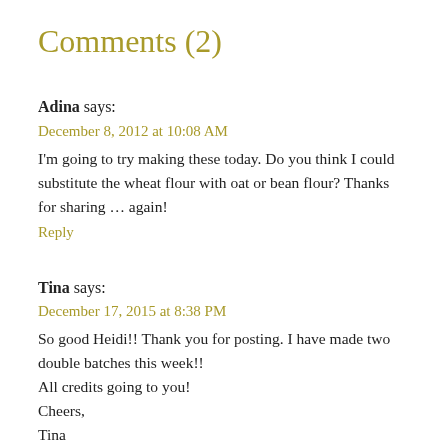Comments (2)
Adina says:
December 8, 2012 at 10:08 AM
I'm going to try making these today. Do you think I could substitute the wheat flour with oat or bean flour? Thanks for sharing … again!
Reply
Tina says:
December 17, 2015 at 8:38 PM
So good Heidi!! Thank you for posting. I have made two double batches this week!!
All credits going to you!
Cheers,
Tina
Reply